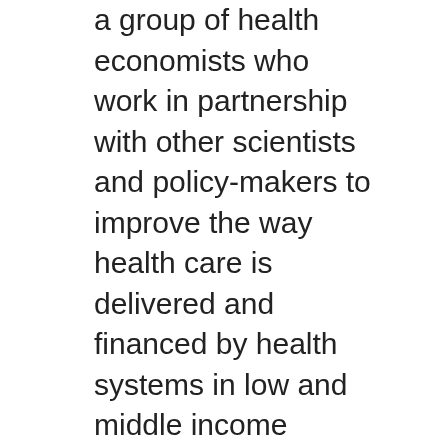a group of health economists who work in partnership with other scientists and policy-makers to improve the way health care is delivered and financed by health systems in low and middle income countries. We work across the globe in a variety of contexts: in low-income countries (Cambodia, Kenya), middle-